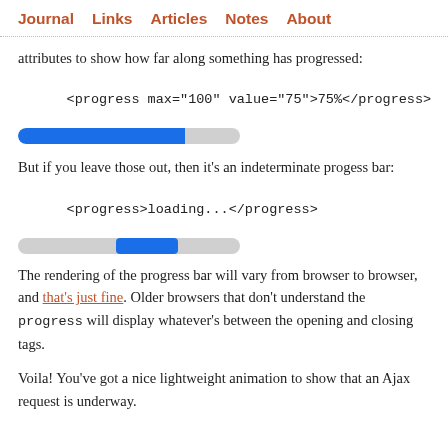Journal  Links  Articles  Notes  About
attributes to show how far along something has progressed:
[Figure (other): A determinate progress bar showing 75% fill in blue on a grey background]
But if you leave those out, then it's an indeterminate progess bar:
[Figure (other): An indeterminate progress bar with a blue segment near the center on a grey background]
The rendering of the progress bar will vary from browser to browser, and that's just fine. Older browsers that don't understand the progress will display whatever's between the opening and closing tags.
Voila! You've got a nice lightweight animation to show that an Ajax request is underway.